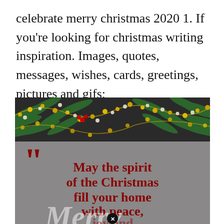celebrate merry christmas 2020 1. If you're looking for christmas writing inspiration. Images, quotes, messages, wishes, cards, greetings, pictures and gifs;
[Figure (illustration): Christmas greeting card image with dark background, pine branches with gold/pearl bead garlands at top, and bold dark red text reading: "May the spirit of the Christmas fill your home with peace, joy and" with a large opening quotation mark. A white cursive 'Merry' watermark overlaps in the lower portion. A close/X button icon appears at bottom center.]